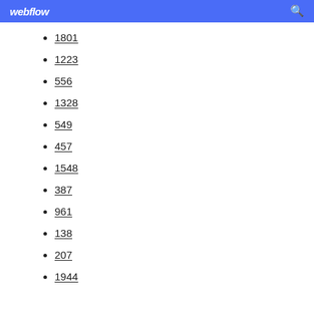webflow
1801
1223
556
1328
549
457
1548
387
961
138
207
1944